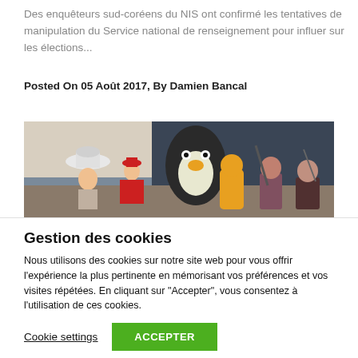Des enquêteurs sud-coréens du NIS ont confirmé les tentatives de manipulation du Service national de renseignement pour influer sur les élections...
Posted On 05 Août 2017, By Damien Bancal
[Figure (photo): Photo of toy figurines including a pirate figure and other colorful characters against a dark background]
Gestion des cookies
Nous utilisons des cookies sur notre site web pour vous offrir l'expérience la plus pertinente en mémorisant vos préférences et vos visites répétées. En cliquant sur "Accepter", vous consentez à l'utilisation de ces cookies.
Cookie settings
ACCEPTER